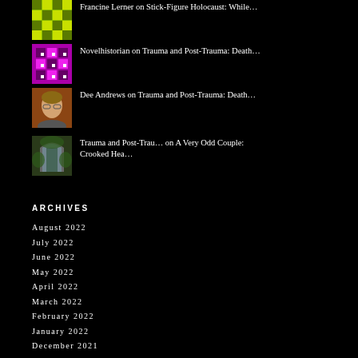Francine Lerner on Stick-Figure Holocaust: While…
Novelhistorian on Trauma and Post-Trauma: Death…
Dee Andrews on Trauma and Post-Trauma: Death…
Trauma and Post-Trau… on A Very Odd Couple: Crooked Hea…
ARCHIVES
August 2022
July 2022
June 2022
May 2022
April 2022
March 2022
February 2022
January 2022
December 2021